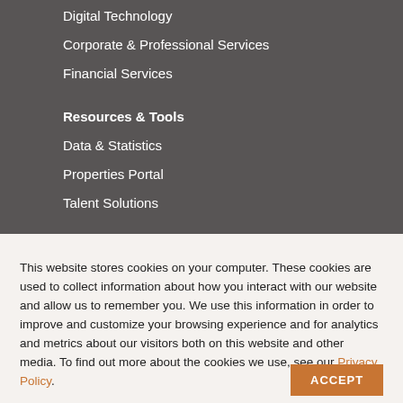Digital Technology
Corporate & Professional Services
Financial Services
Resources & Tools
Data & Statistics
Properties Portal
Talent Solutions
This website stores cookies on your computer. These cookies are used to collect information about how you interact with our website and allow us to remember you. We use this information in order to improve and customize your browsing experience and for analytics and metrics about our visitors both on this website and other media. To find out more about the cookies we use, see our Privacy Policy.